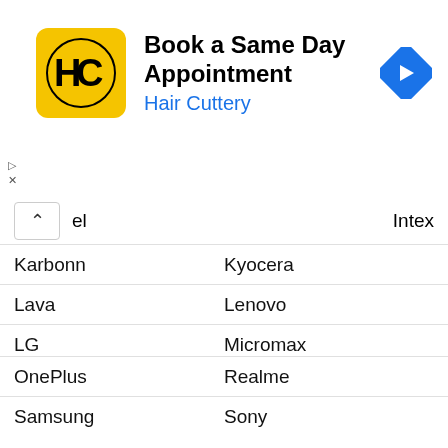[Figure (infographic): Advertisement banner for Hair Cuttery - Book a Same Day Appointment, with HC logo on yellow background and blue navigation arrow icon]
iel | Intex
Karbonn | Kyocera
Lava | Lenovo
LG | Micromax
Motorola | Nokia
OnePlus | Realme
Samsung | Sony